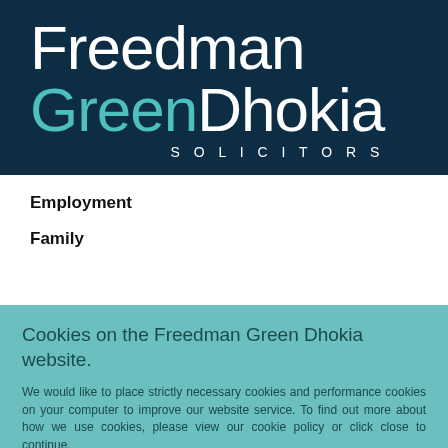[Figure (logo): Freedman Green Dhokia Solicitors logo — dark navy background with white 'Freedman' text, teal 'Green' text and white 'Dhokia' text, 'SOLICITORS' in white spaced caps below]
Employment
Family
Cookies on the Freedman Green Dhokia website.
We would like to place strictly necessary cookies and performance cookies on your computer to improve our website service. To find out more about how we use cookies, please view our cookie policy or click close to continue.
Cookie policy   Close